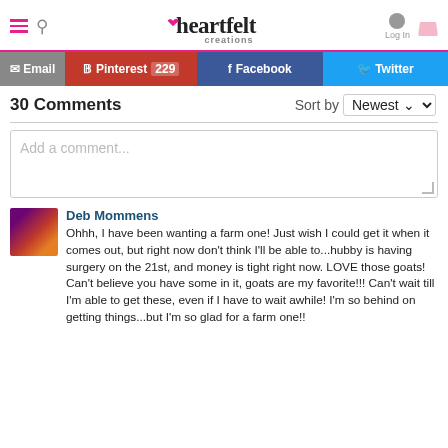heartfelt creations — Log In
[Figure (screenshot): Social share buttons: Email, Pinterest 229, Facebook, Twitter]
30 Comments   Sort by Newest
[Figure (screenshot): Add a comment... text input box]
Deb Mommens
Ohhh, I have been wanting a farm one! Just wish I could get it when it comes out, but right now don't think I'll be able to...hubby is having surgery on the 21st, and money is tight right now. LOVE those goats! Can't believe you have some in it, goats are my favorite!!! Can't wait till I'm able to get these, even if I have to wait awhile! I'm so behind on getting things...but I'm so glad for a farm one!!